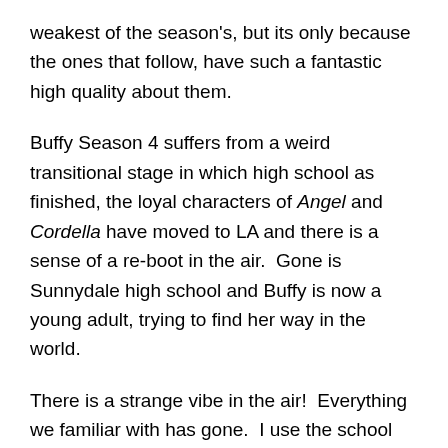weakest of the season's, but its only because the ones that follow, have such a fantastic high quality about them.
Buffy Season 4 suffers from a weird transitional stage in which high school as finished, the loyal characters of Angel and Cordella have moved to LA and there is a sense of a re-boot in the air.  Gone is Sunnydale high school and Buffy is now a young adult, trying to find her way in the world.
There is a strange vibe in the air!  Everything we familiar with has gone.  I use the school library setting that was so popular with fans as example, which  after being destroyed in season 3, is no longer a focal point for a meeting with the Scoobies.  Its the same with Giles,